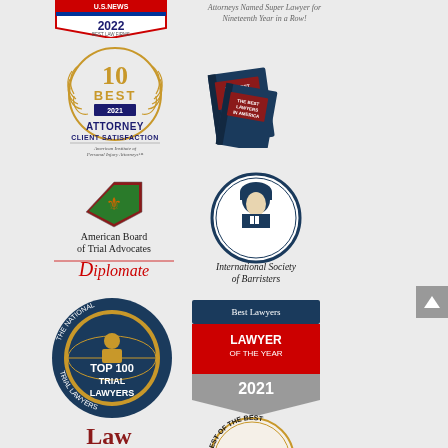[Figure (logo): US News Best Law Firms 2022 badge]
Attorneys Named Super Lawyer for Nineteenth Year in a Row!
[Figure (logo): 10 Best 2021 Attorney Client Satisfaction - American Institute of Personal Injury Attorneys badge]
[Figure (logo): The Best Lawyers in America book logo]
[Figure (logo): American Board of Trial Advocates Diplomate badge]
[Figure (logo): International Society of Barristers badge]
[Figure (logo): The National Top 100 Trial Lawyers badge]
[Figure (logo): Best Lawyers Lawyer of the Year 2021 badge]
[Figure (logo): Law Dragon 500 badge]
[Figure (logo): Best of the Best Top 10 Personal Injury Attorney badge]